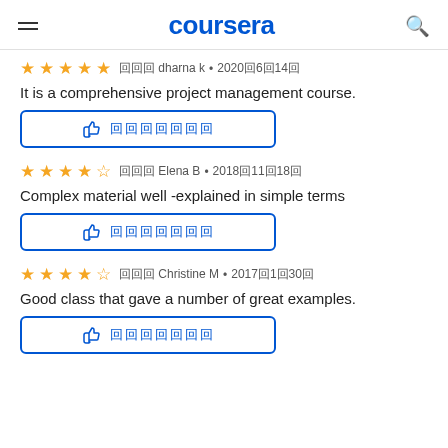coursera
由由由 dharna k • 2020由6由14由
It is a comprehensive project management course.
由由由 Elena B • 2018由11由18由
Complex material well -explained in simple terms
由由由 Christine M • 2017由1由30由
Good class that gave a number of great examples.